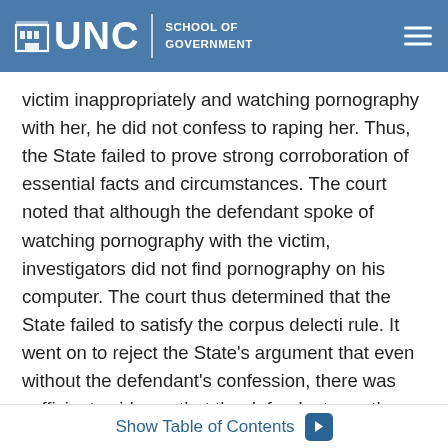UNC School of Government
victim inappropriately and watching pornography with her, he did not confess to raping her. Thus, the State failed to prove strong corroboration of essential facts and circumstances. The court noted that although the defendant spoke of watching pornography with the victim, investigators did not find pornography on his computer. The court thus determined that the State failed to satisfy the corpus delecti rule. It went on to reject the State’s argument that even without the defendant’s confession, there was sufficient evidence that the defendant was the perpetrator of the crimes.
State v. Bridges, __ N.C. App. __, 810 S.E.2d 365 (Feb. 6, 2018)
Show Table of Contents